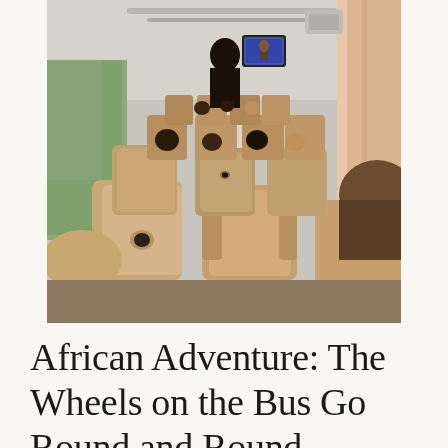[Figure (photo): Interior view of a passenger bus in Africa, taken from the back seats looking forward. Rows of beige/tan seat headrests are visible. Passengers are seated throughout the bus. A person stands in the aisle near the front. A small TV monitor hangs from the ceiling showing a video. Pink/orange curtains on the right windows let in light. The bus aisle stretches toward the front where daylight is visible.]
African Adventure: The Wheels on the Bus Go Round and Round